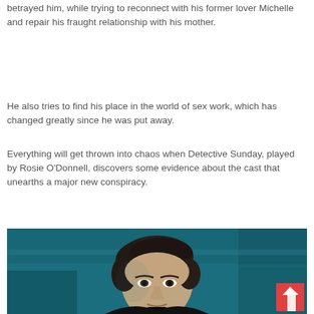betrayed him, while trying to reconnect with his former lover Michelle and repair his fraught relationship with his mother.
He also tries to find his place in the world of sex work, which has changed greatly since he was put away.
Everything will get thrown into chaos when Detective Sunday, played by Rosie O'Donnell, discovers some evidence about the cast that unearths a major new conspiracy.
[Figure (photo): A man with dark hair photographed in dim teal/blue lighting, looking forward with a serious expression. A red home icon button is overlaid in the bottom-right corner of the image.]